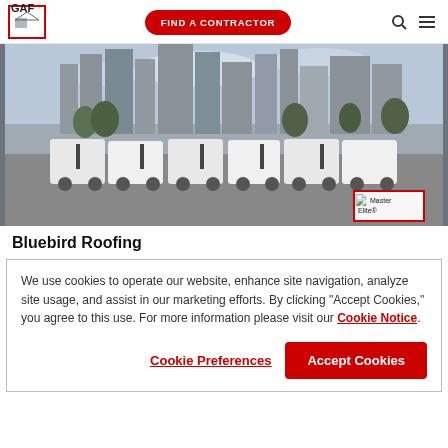GAF | FIND A CONTRACTOR
[Figure (photo): A row of white pickup trucks parked in front of a city skyline with buildings and trees. A Master Elite badge is visible in the bottom right corner of the image with text 'Master Elite<sup>®</sup></sup>'.]
Bluebird Roofing
We use cookies to operate our website, enhance site navigation, analyze site usage, and assist in our marketing efforts. By clicking "Accept Cookies," you agree to this use. For more information please visit our Cookie Notice.
Cookie Preferences | Accept Cookies